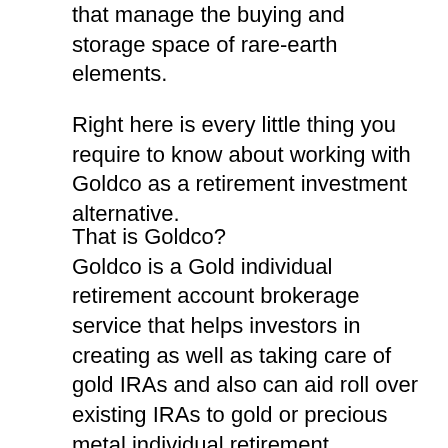that manage the buying and storage space of rare-earth elements.
Right here is every little thing you require to know about working with Goldco as a retirement investment alternative.
That is Goldco?
Goldco is a Gold individual retirement account brokerage service that helps investors in creating as well as taking care of gold IRAs and also can aid roll over existing IRAs to gold or precious metal individual retirement accounts. When you finally want to sell your gold holdings, the business will help you with this by acquiring your rare-earth elements from you or marketing them on your behalf in the steel market.